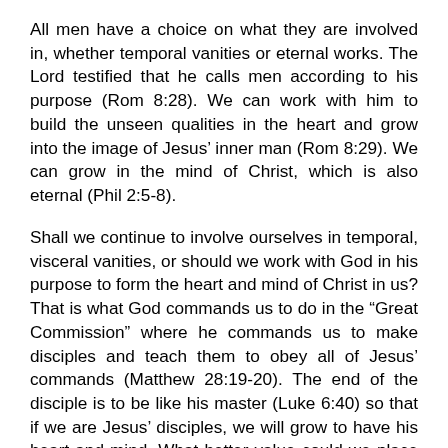All men have a choice on what they are involved in, whether temporal vanities or eternal works. The Lord testified that he calls men according to his purpose (Rom 8:28). We can work with him to build the unseen qualities in the heart and grow into the image of Jesus' inner man (Rom 8:29). We can grow in the mind of Christ, which is also eternal (Phil 2:5-8).
Shall we continue to involve ourselves in temporal, visceral vanities, or should we work with God in his purpose to form the heart and mind of Christ in us? That is what God commands us to do in the “Great Commission” where he commands us to make disciples and teach them to obey all of Jesus’ commands (Matthew 28:19-20). The end of the disciple is to be like his master (Luke 6:40) so that if we are Jesus’ disciples, we will grow to have his heart and mind. What better value could we place on this